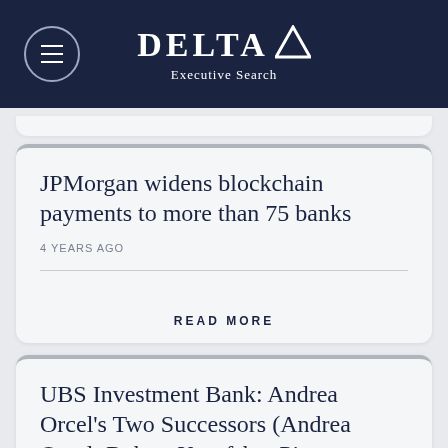Delta Executive Search
JPMorgan widens blockchain payments to more than 75 banks
4 YEARS AGO
READ MORE
UBS Investment Bank: Andrea Orcel's Two Successors (Andrea Orcel; Robert Karofsky; Piero